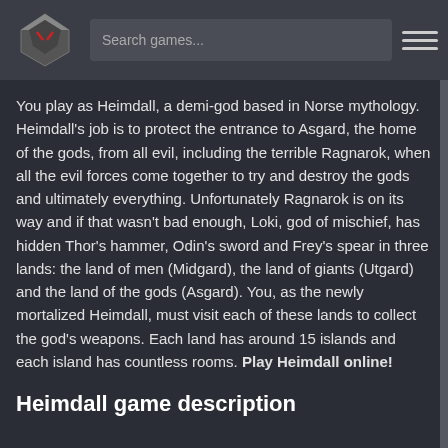Search games...
You play as Heimdall, a demi-god based in Norse mythology. Heimdall's job is to protect the entrance to Asgard, the home of the gods, from all evil, including the terrible Ragnarok, when all the evil forces come together to try and destroy the gods and ultimately everything. Unfortunately Ragnarok is on its way and if that wasn't bad enough, Loki, god of mischief, has hidden Thor's hammer, Odin's sword and Frey's spear in three lands: the land of men (Midgard), the land of giants (Utgard) and the land of the gods (Asgard). You, as the newly mortalized Heimdall, must visit each of these lands to collect the god's weapons. Each land has around 15 islands and each island has countless rooms. Play Heimdall online!
Heimdall game description